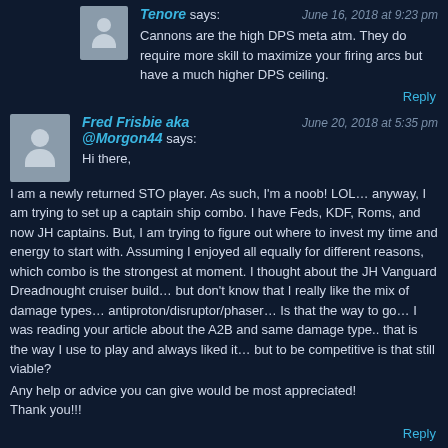Tenore says: June 16, 2018 at 9:23 pm
Cannons are the high DPS meta atm. They do require more skill to maximize your firing arcs but have a much higher DPS ceiling.
Reply
Fred Frisbie aka @Morgon44 says: June 20, 2018 at 5:35 pm
Hi there,
I am a newly returned STO player. As such, I'm a noob! LOL… anyway, I am trying to set up a captain ship combo. I have Feds, KDF, Roms, and now JH captains. But, I am trying to figure out where to invest my time and energy to start with. Assuming I enjoyed all equally for different reasons, which combo is the strongest at moment. I thought about the JH Vanguard Dreadnought cruiser build… but don't know that I really like the mix of damage types… antiproton/disruptor/phaser… Is that the way to go… I was reading your article about the A2B and same damage type.. that is the way I use to play and always liked it… but to be competitive is that still viable?
Any help or advice you can give would be most appreciated!
Thank you!!!
Reply
Tenore says: June 20, 2018 at 8:03 pm
Rom tac will be the strongest DPS choice still due to having access to the T6 Scimitar Flagships and 5 SROs bridge officers. Disruptor is still the top damage type; mixing damage types theoretically gives you a higher ceiling all other things being equal but disruptor is at worst the 2nd